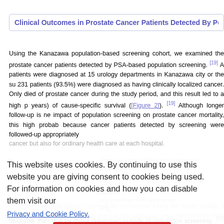Clinical Outcomes in Prostate Cancer Patients Detected By Population Sc…
Using the Kanazawa population-based screening cohort, we examined the prostate cancer patients detected by PSA-based population screening. [19] A patients were diagnosed at 15 urology departments in Kanazawa city or the su 231 patients (93.5%) were diagnosed as having clinically localized cancer. Only died of prostate cancer during the study period, and this result led to a high p years) of cause-specific survival ([Figure 2]). [19] Although longer follow-up is ne impact of population screening on prostate cancer mortality, this high probab because cancer patients detected by screening were followed-up appropriately cancer but also for ordinary health care at each hospital.
Figure 2: Kaplan-Meier plots of the cause-specific survival rates of prostate cancer patients detected by population screening in Kanazawa city (modified from Reference [19]).
In another hospital-based cohort study performed during the same period, it wa 73.5% patients aged 55-69 years in our institution were identified by PSA s patients had a better prognosis than those diagnosed with local and/or system similar result was obtained from another Japanese population screening coho prognosis of prostate cancer patients detected by population screening was dem favorable than that for those diagnosed outside of population screening. [16] Alth bias need to be taken into account when comparing cancer patients and peop